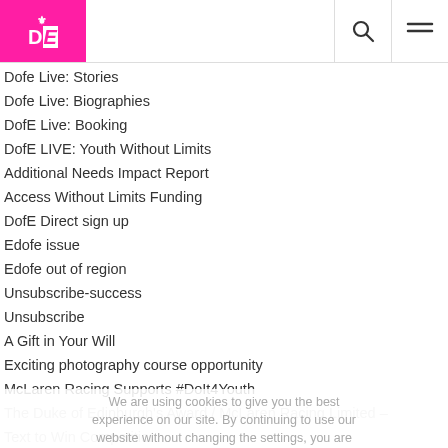DofE logo with search and menu icons
Dofe Live: Stories
Dofe Live: Biographies
DofE Live: Booking
DofE LIVE: Youth Without Limits
Additional Needs Impact Report
Access Without Limits Funding
DofE Direct sign up
Edofe issue
Edofe out of region
Unsubscribe-success
Unsubscribe
A Gift in Your Will
Exciting photography course opportunity
McLaren Racing Supports #DoIt4Youth
The Duke of Edinburgh's Award / McLaren Racing Limited –
Text to Win Competition
Gift Aid
We are using cookies to give you the best experience on our site. By continuing to use our website without changing the settings, you are